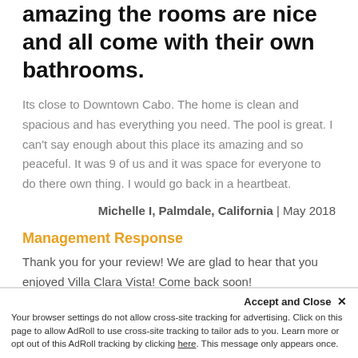amazing the rooms are nice and all come with their own bathrooms.
Its close to Downtown Cabo. The home is clean and spacious and has everything you need. The pool is great. I can't say enough about this place its amazing and so peaceful. It was 9 of us and it was space for everyone to do there own thing. I would go back in a heartbeat.
Michelle I, Palmdale, California | May 2018
Management Response
Thank you for your review! We are glad to hear that you enjoyed Villa Clara Vista! Come back soon!
Accept and Close ×
Your browser settings do not allow cross-site tracking for advertising. Click on this page to allow AdRoll to use cross-site tracking to tailor ads to you. Learn more or opt out of this AdRoll tracking by clicking here. This message only appears once.